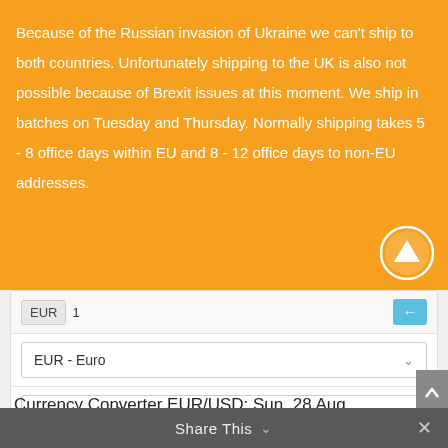Because of the Russian invasion of Ukraine we can't ship to both countries. Unfortunately shipping to the UK is also not possible because of Brexit issues at this moment. We ship in batches on Tuesday and Thursday. Normally shipping takes 5 - 8 office days within EU and 8 - 12 office days to non-EU addresses.
[Figure (other): Currency converter widget showing EUR to USD conversion. Input: EUR 1. Dropdowns: EUR - Euro and USD - US Dollar selected. Result: 0.997 USD. Date: 28 Aug, 2022. Plus button for adding to watchlist.]
Currency Converter EUR/USD: Sun, 28 Aug.
Share This ∨  ×